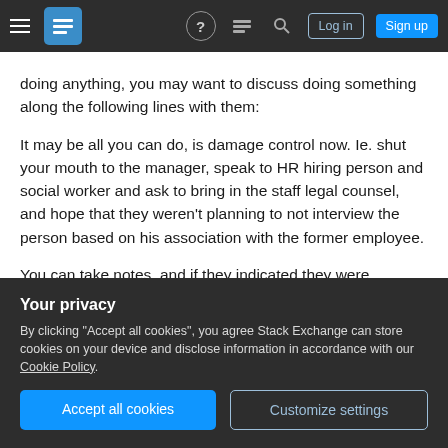Stack Exchange navigation bar with hamburger menu, logo, help, chat, search icons, Log in and Sign up buttons
doing anything, you may want to discuss doing something along the following lines with them:
It may be all you can do, is damage control now. Ie. shut your mouth to the manager, speak to HR hiring person and social worker and ask to bring in the staff legal counsel, and hope that they weren't planning to not interview the person based on his association with the former employee.
You can take notes, and if they indicated they were
Your privacy
By clicking "Accept all cookies", you agree Stack Exchange can store cookies on your device and disclose information in accordance with our Cookie Policy.
Accept all cookies
Customize settings
show that you spoke with them on such and such